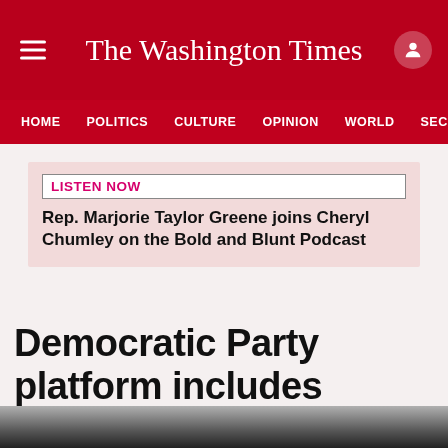The Washington Times
HOME  POLITICS  CULTURE  OPINION  WORLD  SECURIT
LISTEN NOW
Rep. Marjorie Taylor Greene joins Cheryl Chumley on the Bold and Blunt Podcast
Democratic Party platform includes federal judiciary overhaul, court-packing agenda
[Figure (photo): Bottom portion of a photograph, partially visible at the bottom of the page]